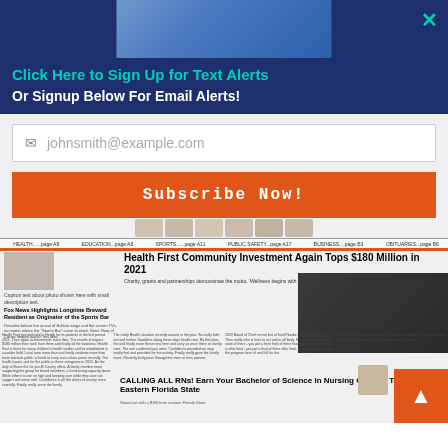[Figure (photo): Top banner with partial image of person in blue shirt, dark blue side panels, teal X close button in top right]
Click Here to Sign Up for Text Alerts
Or Signup Below For Email Alerts!
johnsmith@example.com (placeholder email input)
Subscribe Now!
[Figure (screenshot): Newspaper front page thumbnail showing Health First Community Investment Again Tops $180 Million in 2021, CALLING ALL RNs! Earn Your Bachelor of Science in Nursing On Your Terms at Eastern Florida State, Fox News highlights Longtime Brevard Resident as Originator of the Sports Bar]